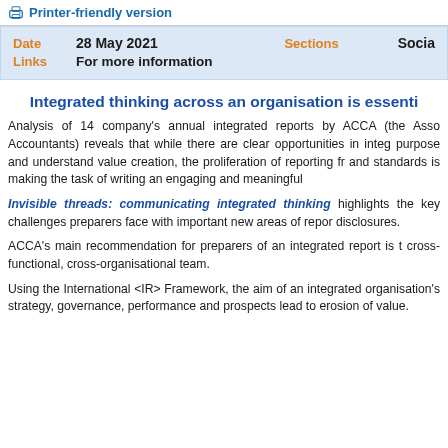Printer-friendly version
| Date | 28 May 2021 | Sections | Socia |
| --- | --- | --- | --- |
| Links | For more information |  |  |
Integrated thinking across an organisation is essenti
Analysis of 14 company's annual integrated reports by ACCA (the Asso Accountants) reveals that while there are clear opportunities in integ purpose and understand value creation, the proliferation of reporting fr and standards is making the task of writing an engaging and meaningful
Invisible threads: communicating integrated thinking highlights the key challenges preparers face with important new areas of repor disclosures.
ACCA's main recommendation for preparers of an integrated report is t cross-functional, cross-organisational team.
Using the International <IR> Framework, the aim of an integrated organisation's strategy, governance, performance and prospects lead to erosion of value.